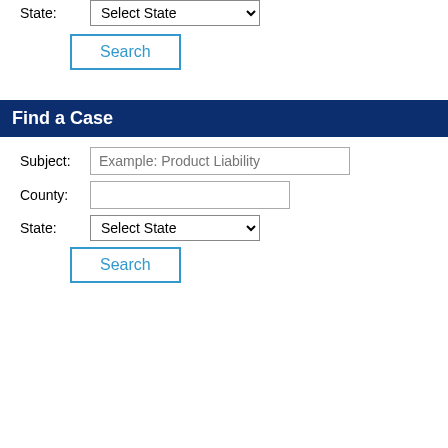State: Select State
Search
Find a Case
Subject: Example: Product Liability
County:
State: Select State
Search